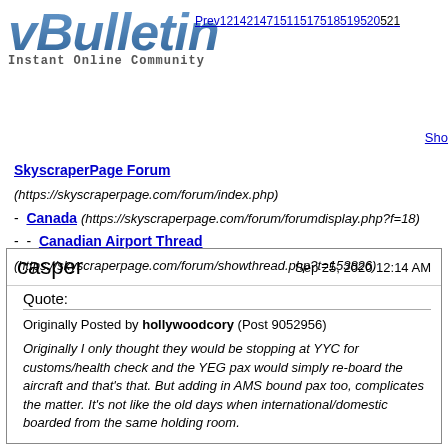[Figure (logo): vBulletin logo with 'Instant Online Community' tagline]
Prev 1 2 1 4 2 1 4 7 1 5 1 1 5 1 7 5 1 8 5 1 9 5 2 0 5 2 1 ...
Show
SkyscraperPage Forum (https://skyscraperpage.com/forum/index.php) - Canada (https://skyscraperpage.com/forum/forumdisplay.php?f=18) - - Canadian Airport Thread (https://skyscraperpage.com/forum/showthread.php?t=153826)
casper — Sep 25, 2020 12:14 AM
Quote: Originally Posted by hollywoodcory (Post 9052956) Originally I only thought they would be stopping at YYC for customs/health check and the YEG pax would simply re-board the aircraft and that's that. But adding in AMS bound pax too, complicates the matter. It's not like the old days when international/domestic boarded from the same holding room.

Gate 70 can be swung between international/domestic without the aircraft having to be towed. Pax board at D70 bound for AMS, and pax bound for YEG board at C70.